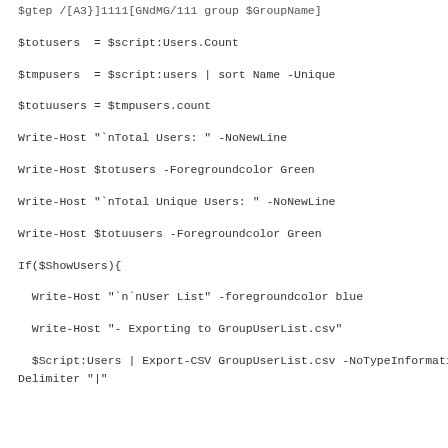$totusers  = $script:Users.Count
$tmpusers  = $script:users | sort Name -Unique
$totuusers = $tmpusers.count
Write-Host "`nTotal Users: " -NoNewLine
Write-Host $totusers -Foregroundcolor Green
Write-Host "`nTotal Unique Users: " -NoNewLine
Write-Host $totuusers -Foregroundcolor Green
If($ShowUsers){
Write-Host "`n`nUser List" -foregroundcolor blue
Write-Host "- Exporting to GroupUserList.csv"
$Script:Users | Export-CSV GroupUserList.csv -NoTypeInformation -Delimiter "|"